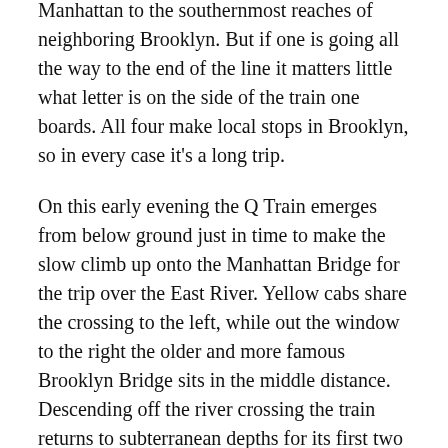Four different subway lines make the transit from Midtown Manhattan to the southernmost reaches of neighboring Brooklyn. But if one is going all the way to the end of the line it matters little what letter is on the side of the train one boards. All four make local stops in Brooklyn, so in every case it's a long trip.
On this early evening the Q Train emerges from below ground just in time to make the slow climb up onto the Manhattan Bridge for the trip over the East River. Yellow cabs share the crossing to the left, while out the window to the right the older and more famous Brooklyn Bridge sits in the middle distance. Descending off the river crossing the train returns to subterranean depths for its first two stops, the second of which is beneath the Barclays Center. The great rust-colored arena, current home of the NBA's Nets and future residence of the NHL's Islanders, is the